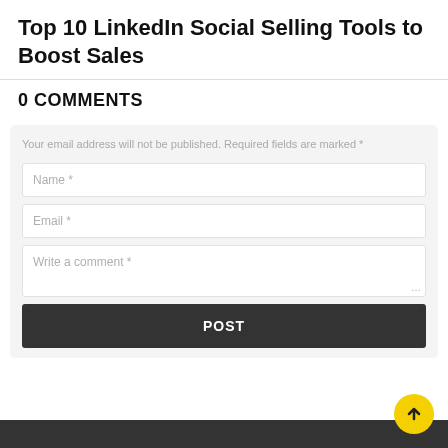Top 10 LinkedIn Social Selling Tools to Boost Sales
0 COMMENTS
Your email address will not be published. Required fields are marked *
Name *
Email *
Write a comment *
POST